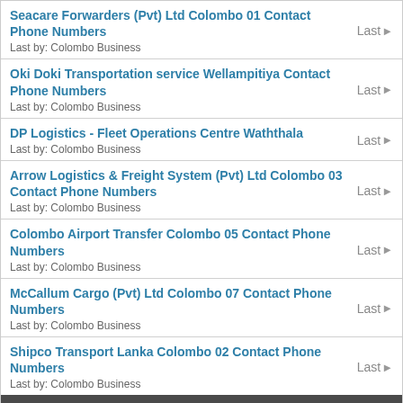Seacare Forwarders (Pvt) Ltd Colombo 01 Contact Phone Numbers
Last by: Colombo Business
Oki Doki Transportation service Wellampitiya Contact Phone Numbers
Last by: Colombo Business
DP Logistics - Fleet Operations Centre Waththala
Last by: Colombo Business
Arrow Logistics & Freight System (Pvt) Ltd Colombo 03 Contact Phone Numbers
Last by: Colombo Business
Colombo Airport Transfer Colombo 05 Contact Phone Numbers
Last by: Colombo Business
McCallum Cargo (Pvt) Ltd Colombo 07 Contact Phone Numbers
Last by: Colombo Business
Shipco Transport Lanka Colombo 02 Contact Phone Numbers
Last by: Colombo Business